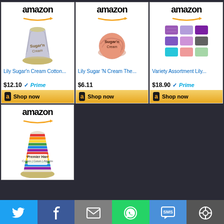[Figure (screenshot): Amazon product listing for Lily Sugar'n Cream Cotton yarn, price $12.10 with Prime, Shop now button]
[Figure (screenshot): Amazon product listing for Lily Sugar 'N Cream The yarn, price $6.11, Shop now button]
[Figure (screenshot): Amazon product listing for Variety Assortment Lily yarn, price $18.90 with Prime, Shop now button]
[Figure (screenshot): Amazon product listing for Premier Yarns cotton cone, partial view, Shop now button]
[Figure (screenshot): Social sharing bar with Twitter, Facebook, Email, WhatsApp, SMS, and Share buttons]